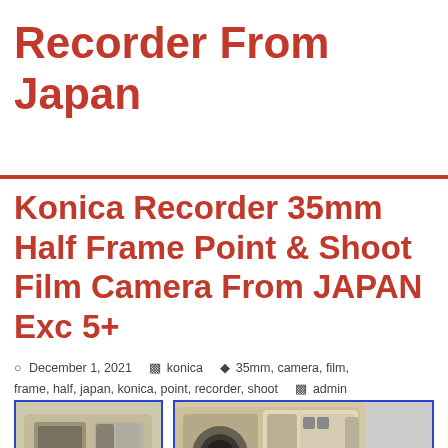Recorder From Japan
Konica Recorder 35mm Half Frame Point & Shoot Film Camera From JAPAN Exc 5+
December 1, 2021   konica   35mm, camera, film, frame, half, japan, konica, point, recorder, shoot   admin
[Figure (photo): Thumbnail image of Konica Recorder 35mm half frame film camera, beige/cream colored compact camera]
[Figure (photo): Main image of Konica Recorder 35mm half frame film camera, front view showing RECORDER branding, lens, and flash unit]